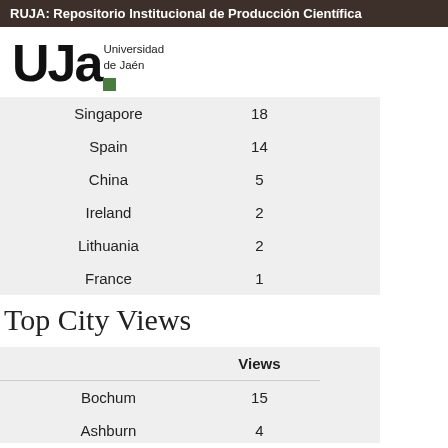RUJA: Repositorio Institucional de Producción Científica
[Figure (logo): UJa Universidad de Jaén logo with green square]
| Singapore | 18 |
| Spain | 14 |
| China | 5 |
| Ireland | 2 |
| Lithuania | 2 |
| France | 1 |
Top City Views
|  | Views |
| --- | --- |
| Bochum | 15 |
| Ashburn | 4 |